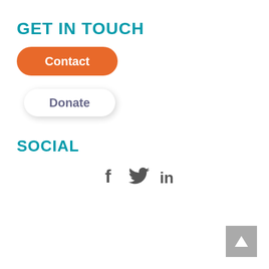GET IN TOUCH
Contact
Donate
SOCIAL
[Figure (infographic): Social media icons: Facebook (f), Twitter (bird), LinkedIn (in)]
^ (back to top button)